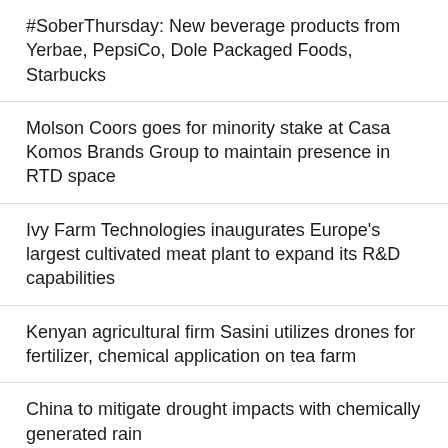#SoberThursday: New beverage products from Yerbae, PepsiCo, Dole Packaged Foods, Starbucks
Molson Coors goes for minority stake at Casa Komos Brands Group to maintain presence in RTD space
Ivy Farm Technologies inaugurates Europe’s largest cultivated meat plant to expand its R&D capabilities
Kenyan agricultural firm Sasini utilizes drones for fertilizer, chemical application on tea farm
China to mitigate drought impacts with chemically generated rain
[Figure (logo): Food Business Africa Magazine Twitter follow widget with red circular logo showing Africa continent, bold magazine name, and blue Follow button]
Food Business Africa is Africa’s No. 1 food, beverage and milling industry publication and website